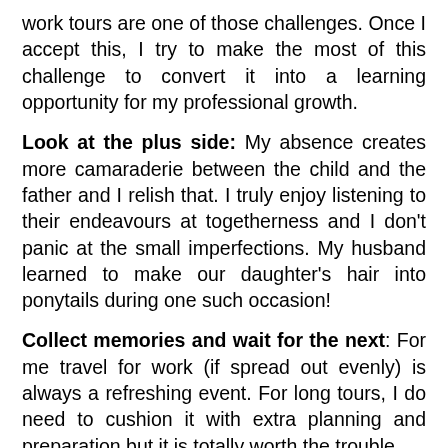work tours are one of those challenges. Once I accept this, I try to make the most of this challenge to convert it into a learning opportunity for my professional growth.
Look at the plus side: My absence creates more camaraderie between the child and the father and I relish that. I truly enjoy listening to their endeavours at togetherness and I don't panic at the small imperfections. My husband learned to make our daughter's hair into ponytails during one such occasion!
Collect memories and wait for the next: For me travel for work (if spread out evenly) is always a refreshing event. For long tours, I do need to cushion it with extra planning and preparation but it is totally worth the trouble.
I do come back rejuvenated with memories of a